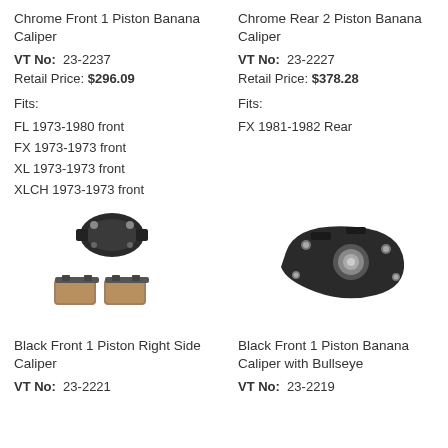Chrome Front 1 Piston Banana Caliper
VT No: 23-2237
Retail Price: $296.09
Fits:
FL 1973-1980 front
FX 1973-1973 front
XL 1973-1973 front
XLCH 1973-1973 front
Chrome Rear 2 Piston Banana Caliper
VT No: 23-2227
Retail Price: $378.28
Fits:
FX 1981-1982 Rear
[Figure (photo): Black brake caliper with brake pads]
[Figure (photo): Black rear brake caliper with bullseye piston]
Black Front 1 Piston Right Side Caliper
VT No: 23-2221
Black Front 1 Piston Banana Caliper with Bullseye
VT No: 23-2219